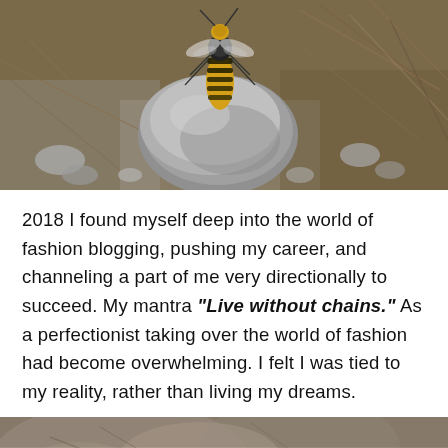[Figure (photo): Close-up macro photograph of a yellow and black wasp resting on a gray rock surrounded by small stones, gravel, and dry pine needles/twigs on the ground.]
2018 I found myself deep into the world of fashion blogging, pushing my career, and channeling a part of me very directionally to succeed. My mantra "Live without chains." As a perfectionist taking over the world of fashion had become overwhelming. I felt I was tied to my reality, rather than living my dreams.
[Figure (photo): Partial photograph of a rocky landscape with lichen-covered stones and green shrubs or moss visible at the bottom right.]